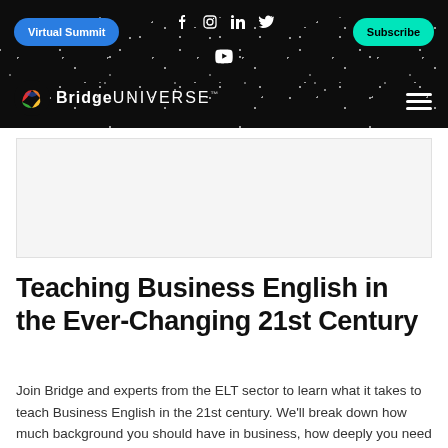Virtual Summit | Subscribe | BridgeUNIVERSE
[Figure (screenshot): Website navigation bar with dark/black background with starfield, blue 'Virtual Summit' button on left, social media icons (Facebook, Instagram, LinkedIn, Twitter, YouTube) in center, teal 'Subscribe' button on right, BridgeUNIVERSE logo bottom left, hamburger menu bottom right]
Teaching Business English in the Ever-Changing 21st Century
Join Bridge and experts from the ELT sector to learn what it takes to teach Business English in the 21st century. We'll break down how much background you should have in business, how deeply you need to